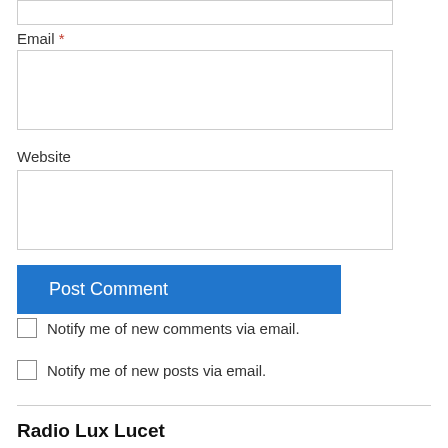Email *
Website
Post Comment
Notify me of new comments via email.
Notify me of new posts via email.
Radio Lux Lucet